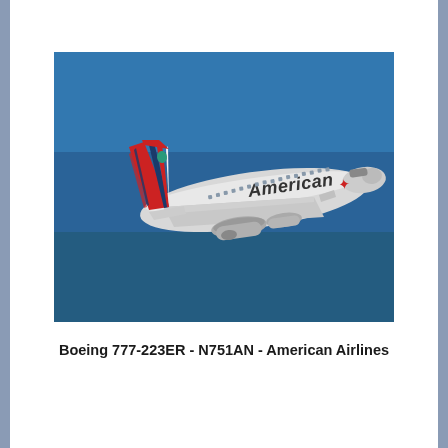[Figure (photo): A Boeing 777-223ER aircraft with American Airlines livery (silver fuselage with 'American' text and red maple leaf logo, red/white/blue striped tail) climbing through a clear blue sky.]
Boeing 777-223ER - N751AN - American Airlines